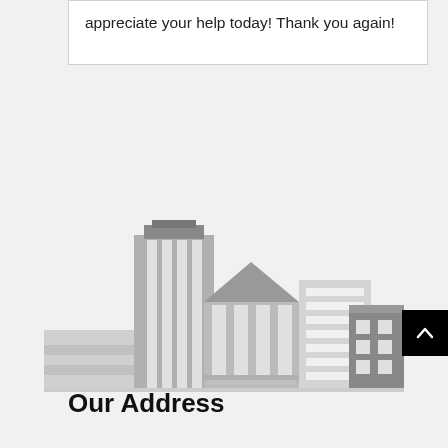appreciate your help today! Thank you again!
[Figure (illustration): Grayscale city skyline illustration showing multiple buildings including a tall tower with columns at top, a classical building with triangular pediment and columns, a multi-story office building with horizontal windows, and a darker brown multi-story building with windows, all in flat greyscale style.]
Our Address